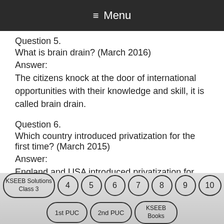≡ Menu
Question 5.
What is brain drain? (March 2016)
Answer:
The citizens knock at the door of international opportunities with their knowledge and skill, it is called brain drain.
Question 6.
Which country introduced privatization for the first time? (March 2015)
Answer:
England and USA introduced privatization for
KSEEB Solutions Class 3 | 4 | 5 | 6 | 7 | 8 | 9 | 10 | 1st PUC | 2nd PUC | KSEEB Books